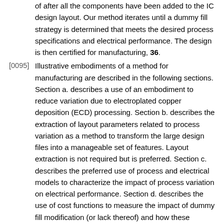of after all the components have been added to the IC design layout. Our method iterates until a dummy fill strategy is determined that meets the desired process specifications and electrical performance. The design is then certified for manufacturing, 36.
[0095] Illustrative embodiments of a method for manufacturing are described in the following sections. Section a. describes a use of an embodiment to reduce variation due to electroplated copper deposition (ECD) processing. Section b. describes the extraction of layout parameters related to process variation as a method to transform the large design files into a manageable set of features. Layout extraction is not required but is preferred. Section c. describes the preferred use of process and electrical models to characterize the impact of process variation on electrical performance. Section d. describes the use of cost functions to measure the impact of dummy fill modification (or lack thereof) and how these functions may be used to achieve desired wafer quality and electrical